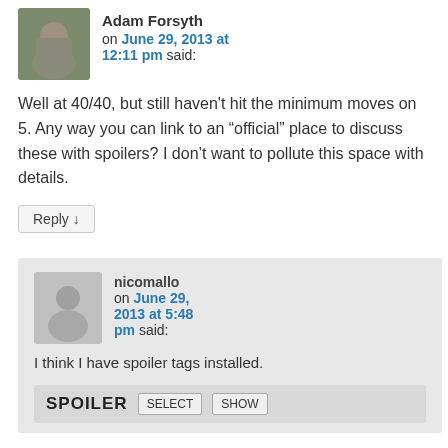Adam Forsyth on June 29, 2013 at 12:11 pm said:
Well at 40/40, but still haven't hit the minimum moves on 5. Any way you can link to an “official” place to discuss these with spoilers? I don’t want to pollute this space with details.
Reply ↓
nicomallo on June 29, 2013 at 5:48 pm said:
I think I have spoiler tags installed.
SPOILER